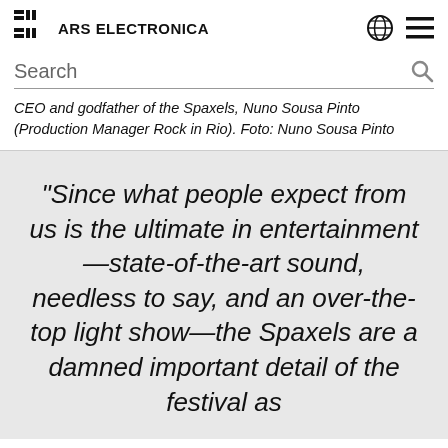ARS ELECTRONICA
Search
CEO and godfather of the Spaxels, Nuno Sousa Pinto (Production Manager Rock in Rio). Foto: Nuno Sousa Pinto
“Since what people expect from us is the ultimate in entertainment—state-of-the-art sound, needless to say, and an over-the-top light show—the Spaxels are a damned important detail of the festival as